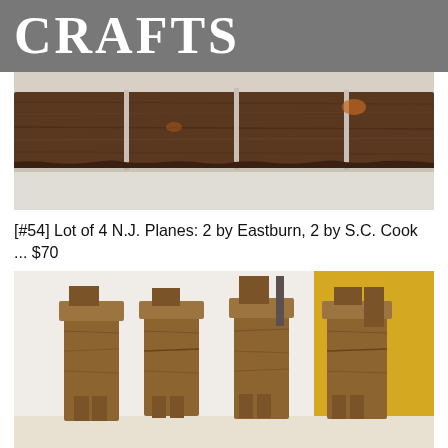CRAFTS
[Figure (photo): Close-up photo of antique wooden hand planes arranged in a row, viewed from the side, showing dark brown aged wood grain and metal hardware on a light background.]
[#54] Lot of 4 N.J. Planes: 2 by Eastburn, 2 by S.C. Cook ... $70
[Figure (photo): Photo of four antique wooden hand planes standing upright on a yellow and white surface, showing their profiles with wooden bodies and metal blades extending from the tops.]